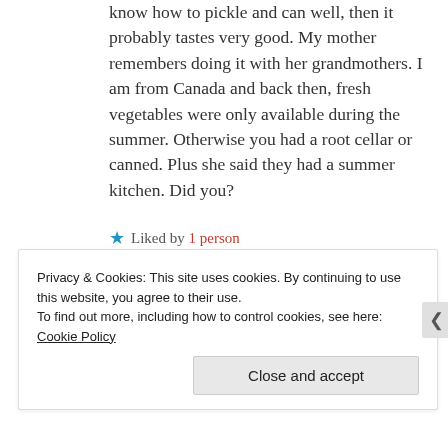know how to pickle and can well, then it probably tastes very good. My mother remembers doing it with her grandmothers. I am from Canada and back then, fresh vegetables were only available during the summer. Otherwise you had a root cellar or canned. Plus she said they had a summer kitchen. Did you?
★ Liked by 1 person
Privacy & Cookies: This site uses cookies. By continuing to use this website, you agree to their use. To find out more, including how to control cookies, see here: Cookie Policy
Close and accept